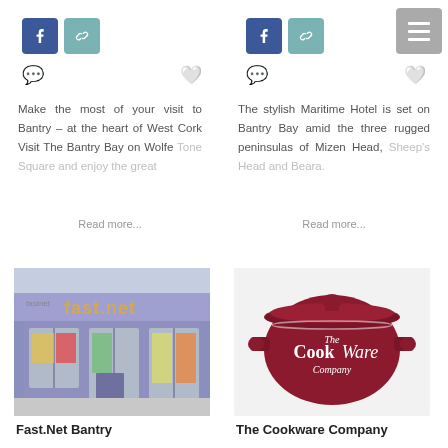[Figure (screenshot): Facebook share button (blue) and link/chain button (teal) - left column top]
[Figure (screenshot): Facebook share button (blue) and link/chain button (teal) - right column top, plus hamburger menu icon (gray) top-right]
[Figure (infographic): Chat bubble icon and heart icon row - left column]
[Figure (infographic): Chat bubble icon and heart icon row - right column]
Make the most of your visit to Bantry – at the heart of West Cork Visit The Bantry Bay on Wolfe Tone Square and enjoy the great
Read more...
The stylish Maritime Hotel is set on Bantry Bay amid the three rugged peninsulas of Mizen Head, Sheep's Head and Beara.
Read more...
[Figure (photo): Exterior photo of Fast.Net Bantry shop front - purple/blue building with fast.net signage]
[Figure (logo): The Cookware Company logo - dark red cooking pot with company name in white text]
Fast.Net Bantry
The Cookware Company
[Figure (screenshot): Small Facebook and link buttons bottom-left]
[Figure (screenshot): Small Facebook and link buttons bottom-right]